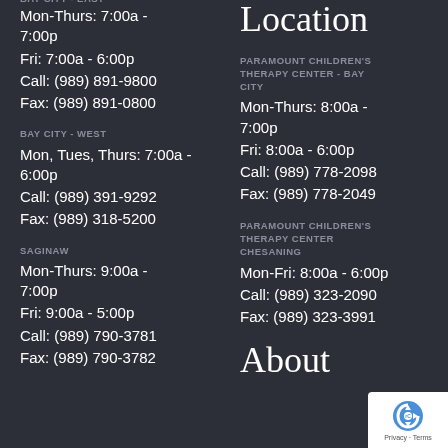Location
Mon-Thurs: 7:00a - 7:00p
Fri: 7:00a - 6:00p
Call: (989) 891-9800
Fax: (989) 891-0800
BAY CITY - WEST
Mon, Tues, Thurs: 7:00a - 6:00p
Call: (989) 391-9292
Fax: (989) 318-5200
SAGINAW
Mon-Thurs: 9:00a - 7:00p
Fri: 9:00a - 5:00p
Call: (989) 790-3781
Fax: (989) 790-3782
PARAMOUNT CHILDREN'S THERAPY CENTER - BAY CITY
Mon-Thurs: 8:00a - 7:00p
Fri: 8:00a - 6:00p
Call: (989) 778-2098
Fax: (989) 778-2049
PARAMOUNT CHILDREN'S THERAPY CENTER CHESANING
Mon-Fri: 8:00a - 6:00p
Call: (989) 323-2090
Fax: (989) 323-3991
About